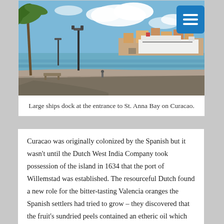[Figure (photo): Waterfront promenade with palm trees and a cruise ship docked at St. Anna Bay on Curacao. Stone seawall, lampposts, and blue sky with clouds visible.]
Large ships dock at the entrance to St. Anna Bay on Curacao.
Curacao was originally colonized by the Spanish but it wasn't until the Dutch West India Company took possession of the island in 1634 that the port of Willemstad was established. The resourceful Dutch found a new role for the bitter-tasting Valencia oranges the Spanish settlers had tried to grow – they discovered that the fruit's sundried peels contained an etheric oil which became the basis for Curacao's famous liqueur.
The Curacao Liqueur Distillery is located in a former colonial mansion on the east side of Willemstad's harbor, but we opted to spend the rest of our day in port by taking a taxi to the Hilton resort where a pleasant beach can be enjoyed followed by refreshments and lunch at an